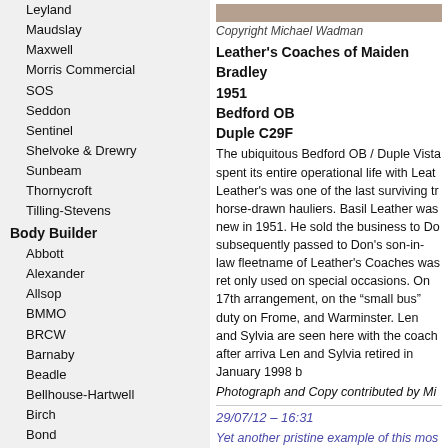Leyland
Maudslay
Maxwell
Morris Commercial
SOS
Seddon
Sentinel
Shelvoke & Drewry
Sunbeam
Thornycroft
Tilling-Stevens
Body Builder
Abbott
Alexander
Allsop
BMMO
BRCW
Barnaby
Beadle
Bellhouse-Hartwell
Birch
Bond
Bristol
Bruce
Brush
Burlingham
CIE/MSL
Cawood
Craven
Crossley
Copyright Michael Wadman
Leather's Coaches of Maiden Bradley 1951
Bedford OB
Duple C29F
The ubiquitous Bedford OB / Duple Vista spent its entire operational life with Leather's was one of the last surviving tr horse-drawn hauliers. Basil Leather was new in 1951. He sold the business to Do subsequently passed to Don's son-in-law fleetname of Leather's Coaches was ret only used on special occasions. On 17th arrangement, on the "small bus" duty on Frome, and Warminster. Len and Sylvia are seen here with the coach after arriva Len and Sylvia retired in January 1998 b
Photograph and Copy contributed by Mi
29/07/12 – 16:31
Yet another pristine example of this mos their utter honesty – economical, gutsy b some of the finest acoustic delights one drooled over the pure but sharp "top of t gears – occasionally including a forgiva like top gear. Thereafter one would sail a